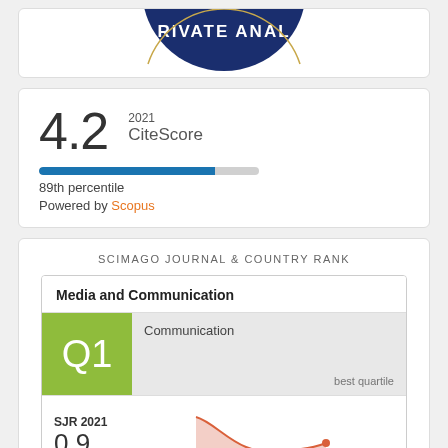[Figure (logo): Partial circular logo/seal with text 'RIVATE ANAL' visible on dark blue background]
[Figure (infographic): CiteScore 2021 badge showing score of 4.2, a progress bar at 89th percentile, and 'Powered by Scopus' text]
SCIMAGO JOURNAL & COUNTRY RANK
[Figure (infographic): SCImago Journal Rank card showing Media and Communication, Q1 quartile in Communication (best quartile), SJR 2021 = 0.9, with a line chart showing trend, powered by scimagojr.com]